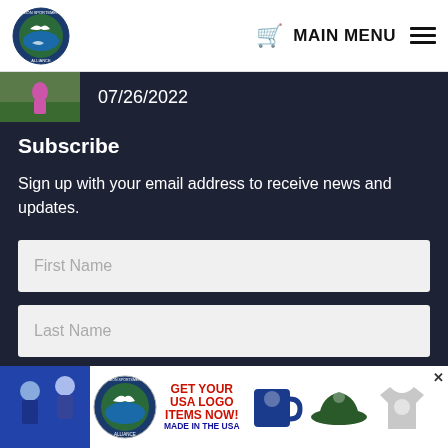Union Sportsmen's Alliance — MAIN MENU
07/26/2022
Subscribe
Sign up with your email address to receive news and updates.
First Name
Last Name
[Figure (infographic): Ad banner: GET YOUR USA LOGO ITEMS NOW! MADE IN THE USA — Union Sportsmen's Alliance logo, mug, hat, shirt]